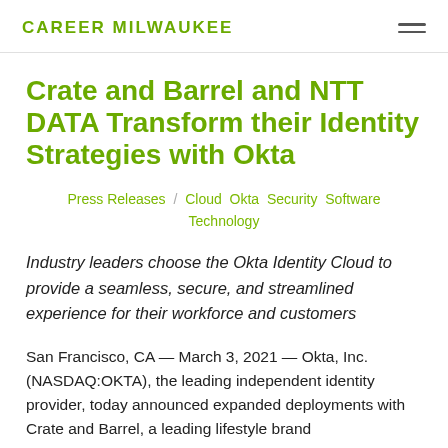CAREER MILWAUKEE
Crate and Barrel and NTT DATA Transform their Identity Strategies with Okta
Press Releases / Cloud Okta Security Software Technology
Industry leaders choose the Okta Identity Cloud to provide a seamless, secure, and streamlined experience for their workforce and customers
San Francisco, CA — March 3, 2021 — Okta, Inc. (NASDAQ:OKTA), the leading independent identity provider, today announced expanded deployments with Crate and Barrel, a leading lifestyle brand